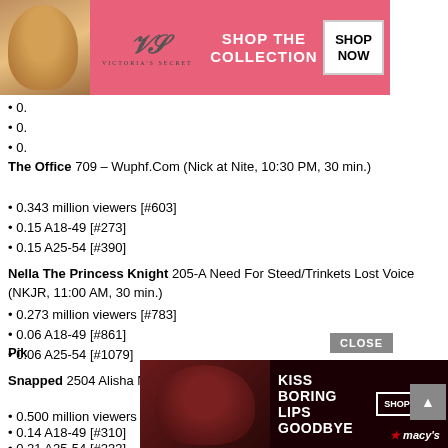[Figure (illustration): Victoria's Secret advertisement banner with model, VS logo, 'SHOP THE COLLECTION' text, and 'SHOP NOW' button on pink background]
0.
0.
0.
The Office 709 – Wuphf.Com (Nick at Nite, 10:30 PM, 30 min.)
0.343 million viewers [#603]
0.15 A18-49 [#273]
0.15 A25-54 [#390]
Nella The Princess Knight 205-A Need For Steed/Trinkets Lost Voice (NKJR, 11:00 AM, 30 min.)
0.273 million viewers [#783]
0.06 A18-49 [#861]
0.06 A25-54 [#1079]
Snapped 2504 Alisha Noel-Murray (OXYG, 6:00 PM, 60 min.)
0.500 million viewers [#323]
0.14 A18-49 [#310]
0.21 A25-54 [#233]
[Figure (illustration): Macy's advertisement banner: 'KISS BORING LIPS GOODBYE' with model, SHOP NOW button, Macy's star logo on dark red background]
Pik